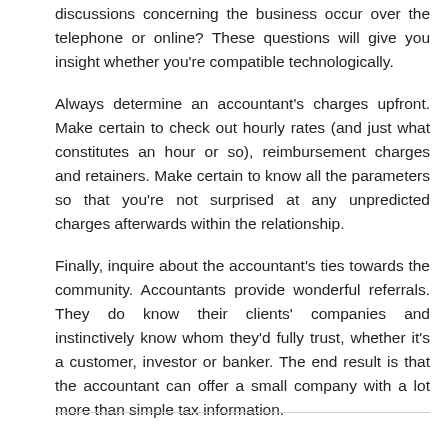discussions concerning the business occur over the telephone or online? These questions will give you insight whether you're compatible technologically.
Always determine an accountant's charges upfront. Make certain to check out hourly rates (and just what constitutes an hour or so), reimbursement charges and retainers. Make certain to know all the parameters so that you're not surprised at any unpredicted charges afterwards within the relationship.
Finally, inquire about the accountant's ties towards the community. Accountants provide wonderful referrals. They do know their clients' companies and instinctively know whom they'd fully trust, whether it's a customer, investor or banker. The end result is that the accountant can offer a small company with a lot more than simple tax information.